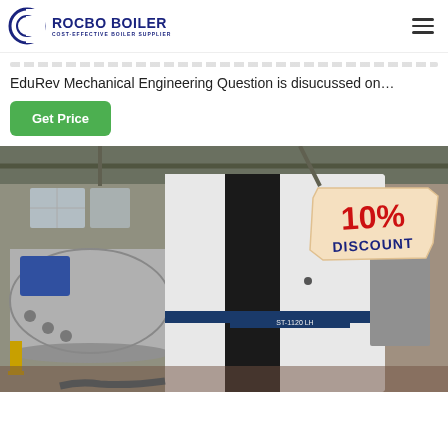ROCBO BOILER - COST-EFFECTIVE BOILER SUPPLIER
EduRev Mechanical Engineering Question is disucussed on…
Get Price
[Figure (photo): Industrial boiler equipment in a factory/warehouse setting. A large white and black boiler unit is shown in the foreground, with a cylindrical metal tank visible in the background. A '10% DISCOUNT' promotional sign is overlaid on the upper right of the image.]